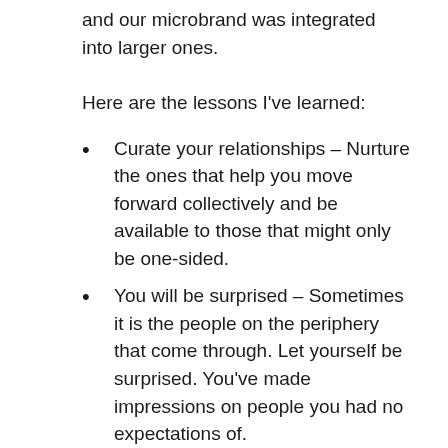and our microbrand was integrated into larger ones.
Here are the lessons I've learned:
Curate your relationships – Nurture the ones that help you move forward collectively and be available to those that might only be one-sided.
You will be surprised – Sometimes it is the people on the periphery that come through. Let yourself be surprised. You've made impressions on people you had no expectations of.
It's hard work to build your brand – You have to work at it. Meet people in real life, have that phone call, go for coffee, take the lunch meeting. You can only go so far online. Learn to appreciate the face-to-face and try to provide value in your interactions.